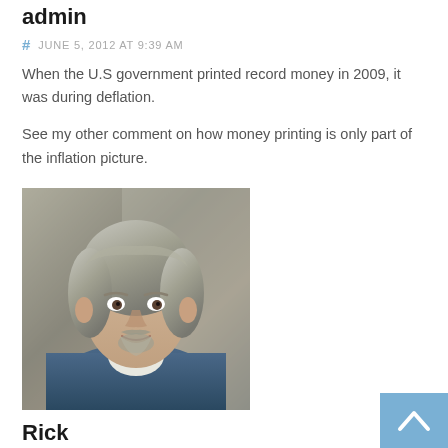admin
# JUNE 5, 2012 AT 9:39 AM
When the U.S government printed record money in 2009, it was during deflation.
See my other comment on how money printing is only part of the inflation picture.
[Figure (photo): Portrait photo of a middle-aged man with gray hair and a goatee, wearing a blue denim jacket]
Rick
# JUNE 5, 2012 AT 11:22 AM
Yes, there was deflation; but not because of printing money. It was a reaction to the massive mortage crash and the lowering of the price of oil. The gov also uses other ways to control the inflationary pressure – like lowering interest rates; which are still very low for that reason. As well as manipulations in the markets with the help of JP Morgan and others.